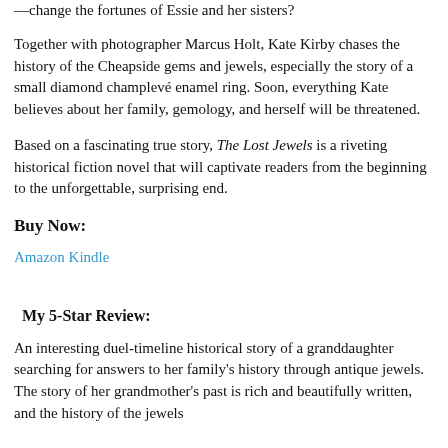—change the fortunes of Essie and her sisters?
Together with photographer Marcus Holt, Kate Kirby chases the history of the Cheapside gems and jewels, especially the story of a small diamond champlevé enamel ring. Soon, everything Kate believes about her family, gemology, and herself will be threatened.
Based on a fascinating true story, The Lost Jewels is a riveting historical fiction novel that will captivate readers from the beginning to the unforgettable, surprising end.
Buy Now:
Amazon Kindle
My 5-Star Review:
An interesting duel-timeline historical story of a granddaughter searching for answers to her family's history through antique jewels. The story of her grandmother's past is rich and beautifully written, and the history of the jewels